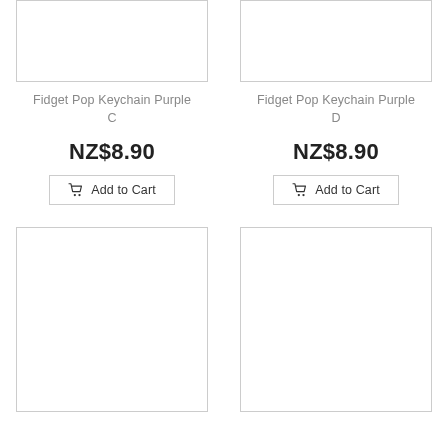[Figure (other): Product image placeholder box for Fidget Pop Keychain Purple C]
Fidget Pop Keychain Purple C
NZ$8.90
Add to Cart
[Figure (other): Product image placeholder box for Fidget Pop Keychain Purple D]
Fidget Pop Keychain Purple D
NZ$8.90
Add to Cart
[Figure (other): Product image placeholder box (tall), left column]
[Figure (other): Product image placeholder box (tall), right column]